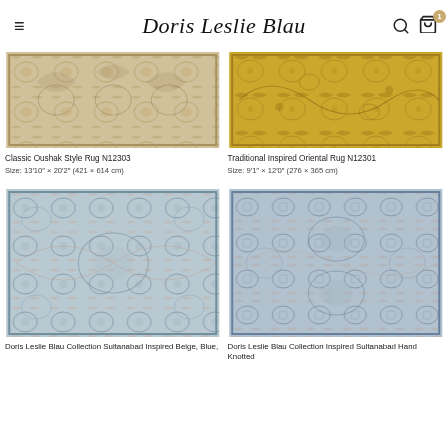Doris Leslie Blau
[Figure (photo): Classic Oushak Style Rug N12303 — beige/gold floral pattern rug photo]
Classic Oushak Style Rug N12303
Size: 13′10″ × 20′2″ (421 × 614 cm)
[Figure (photo): Traditional Inspired Oriental Rug N12301 — gold/amber floral pattern rug photo]
Traditional Inspired Oriental Rug N12301
Size: 9′1″ × 12′0″ (276 × 365 cm)
[Figure (photo): Doris Leslie Blau Collection Sultanabad Inspired Beige, Blue rug — light blue/grey floral pattern]
Doris Leslie Blau Collection Sultanabad Inspired Beige, Blue,
[Figure (photo): Doris Leslie Blau Collection Inspired Sultanabad Hand Knotted — light blue floral pattern rug]
Doris Leslie Blau Collection Inspired Sultanabad Hand Knotted